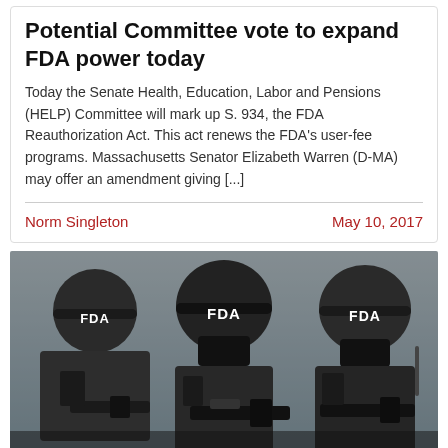Potential Committee vote to expand FDA power today
Today the Senate Health, Education, Labor and Pensions (HELP) Committee will mark up S. 934, the FDA Reauthorization Act. This act renews the FDA's user-fee programs. Massachusetts Senator Elizabeth Warren (D-MA) may offer an amendment giving [...]
Norm Singleton
May 10, 2017
[Figure (photo): Black and white photo of three tactical officers in military gear wearing helmets labeled 'FDA', aiming rifles at the camera]